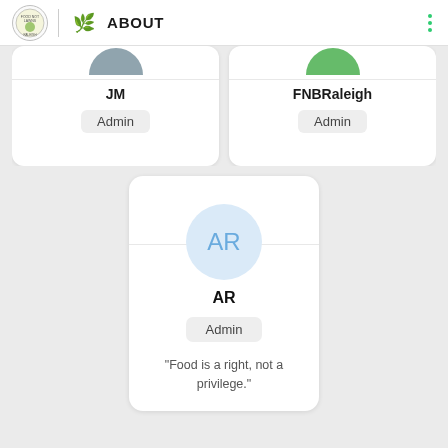ABOUT
[Figure (screenshot): User card for JM with Admin badge]
[Figure (screenshot): User card for FNBRaleigh with Admin badge]
[Figure (screenshot): User card for AR with Admin badge and quote: Food is a right, not a privilege.]